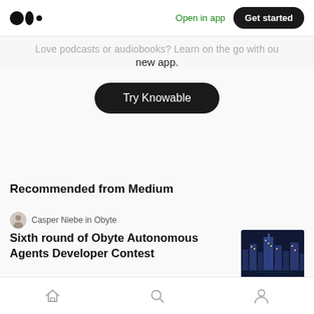Medium logo | Open in app | Get started
Love podcasts or audiobooks? Learn on the go with our new app.
Try Knowable
Recommended from Medium
Casper Niebe in Obyte
Sixth round of Obyte Autonomous Agents Developer Contest
Home | Search | Profile